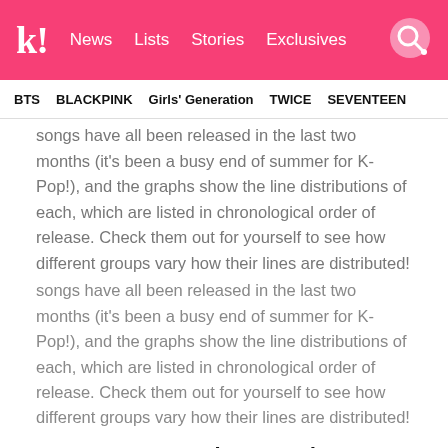k! News  Lists  Stories  Exclusives
BTS  BLACKPINK  Girls' Generation  TWICE  SEVENTEEN
songs have all been released in the last two months (it's been a busy end of summer for K-Pop!), and the graphs show the line distributions of each, which are listed in chronological order of release. Check them out for yourself to see how different groups vary how their lines are distributed!
1. “D.B.D.B.DIB” by Saturday
[Figure (pie-chart): Partial pie chart visible showing at least Minseo: 18% and Ayeon: 23.3% slices with cyan/blue, salmon/red and green segments on dark background]